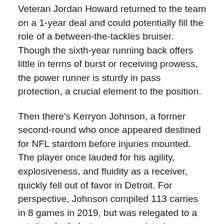Veteran Jordan Howard returned to the team on a 1-year deal and could potentially fill the role of a between-the-tackles bruiser. Though the sixth-year running back offers little in terms of burst or receiving prowess, the power runner is sturdy in pass protection, a crucial element to the position.
Then there's Kerryon Johnson, a former second-round who once appeared destined for NFL stardom before injuries mounted. The player once lauded for his agility, explosiveness, and fluidity as a receiver, quickly fell out of favor in Detroit. For perspective, Johnson compiled 113 carries in 8 games in 2019, but was relegated to a rotational role last season, registering a mere 52 carries across 16 games.
Still, if Johnson can shoulder the bulk of the receiving duties, and continue his pass-protection dominance, it